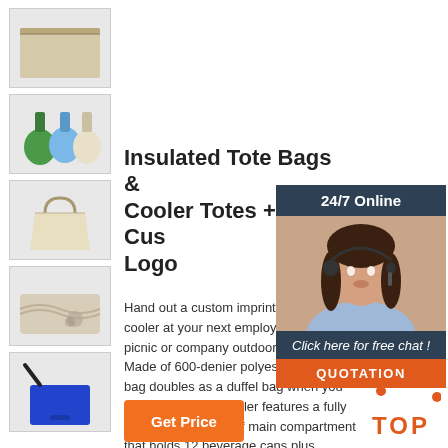[Figure (photo): Thumbnail image 1 - beige/tan flat pouch with zipper]
[Figure (photo): Thumbnail image 2 - green, blue, and cream drawstring pouches]
[Figure (photo): Thumbnail image 3 - plain canvas tote bag with handles]
[Figure (photo): Thumbnail image 4 - beige fabric with gathered elastic and jewelry]
[Figure (photo): Thumbnail image 5 - blue shoulder bag with black strap]
Insulated Tote Bags & Cooler Totes + Custom Logo
Hand out a custom imprinted beverage cooler at your next employee recognition picnic or company outdoor promotion. Made of 600-denier polyester, this cooler bag doubles as a duffel bag when you remove the liner.Cooler features a fully insulated, waterproof main compartment that holds 12 beverage cans plus ice.Two large zippered front pockets and two zippered end mesh pockets provide extra storage ...
[Figure (infographic): 24/7 Online chat widget with customer service agent photo, 'Click here for free chat!' text, and QUOTATION button]
[Figure (logo): TOP button with orange dots arc and orange text 'TOP']
Get Price